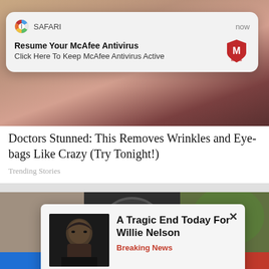[Figure (screenshot): Safari browser notification popup over a webpage background showing skin close-up image]
SAFARI   now
Resume Your McAfee Antivirus
Click Here To Keep McAfee Antivirus Active
[Figure (photo): Close-up photo of wrinkled skin and lips]
Doctors Stunned: This Removes Wrinkles and Eye-bags Like Crazy (Try Tonight!)
Trending Stories
[Figure (photo): Photo of camera lens or wheel outdoors]
[Figure (screenshot): Popup ad showing Willie Nelson photo with headline A Tragic End Today For Willie Nelson, Breaking News]
A Tragic End Today For Willie Nelson
Breaking News